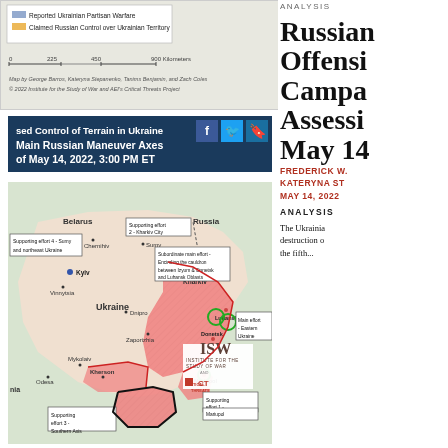[Figure (map): Top portion of a map of Ukraine showing legend items: Reported Ukrainian Partisan Warfare (blue), Claimed Russian Control over Ukrainian Territory (orange), scale bar 0-225-450-900 Kilometers, map credit to George Barros, Kateryna Stepanenko, Tanims Benjamin, and Zach Coles, © 2022 Institute for the Study of War and AEI's Critical Threats Project]
[Figure (map): Map titled '[Claimed/Assessed] Control of Terrain in Ukraine and Main Russian Maneuver Axes as of May 14, 2022, 3:00 PM ET' with social media sharing icons (Facebook, Twitter, bookmark). Shows Ukraine with Russian-controlled territory in pink/red, military effort labels including: Supporting effort 4 - Sumy and northeast Ukraine; Supporting effort 2 - Kharkiv City; Subordinate main effort - Encircling the cauldron between Izyum & Donetsk and Luhansk Oblasts; Main effort - Eastern Ukraine; Supporting effort 1 - Mariupol; Supporting effort 3 - Southern Axis. ISW and Critical Threats logos visible. Countries: Belarus, Russia, Ukraine labeled. Cities: Kyiv, Chernihiv, Sumy, Kharkiv, Vinnytsia, Dnipro, Zaporizhia, Mykolaiv, Odesa, Kherson, Luhansk, Donetsk, Mariupol labeled.]
Russian Offensive Campaign Assessment, May 14
FREDERIK W.
KATERYNA ST
MAY 14, 2022
ANALYSIS
The Ukrainia destruction o the fifth...